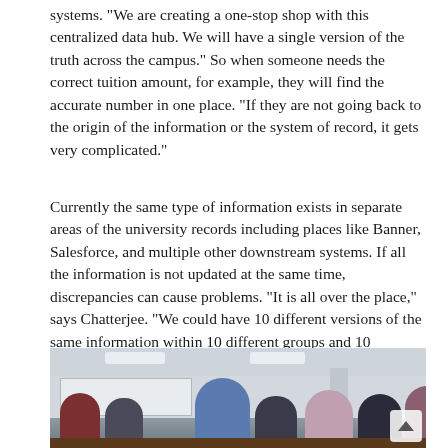systems. “We are creating a one-stop shop with this centralized data hub. We will have a single version of the truth across the campus.” So when someone needs the correct tuition amount, for example, they will find the accurate number in one place. “If they are not going back to the origin of the information or the system of record, it gets very complicated.”
Currently the same type of information exists in separate areas of the university records including places like Banner, Salesforce, and multiple other downstream systems. If all the information is not updated at the same time, discrepancies can cause problems. “It is all over the place,” says Chatterjee. “We could have 10 different versions of the same information within 10 different groups and 10 different systems.”
[Figure (photo): Photograph of a classroom or meeting room setting with multiple people seated at tables, listening or attending a presentation. The room has white walls, ceiling lights, and a whiteboard visible on the left side.]